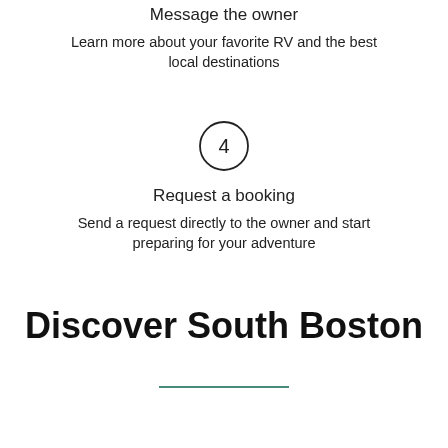Message the owner
Learn more about your favorite RV and the best local destinations
[Figure (other): Circle with number 4 inside]
Request a booking
Send a request directly to the owner and start preparing for your adventure
Discover South Boston